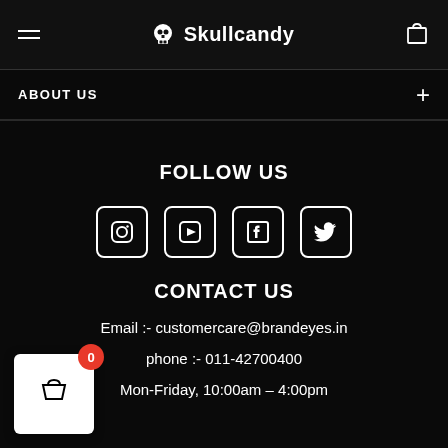Skullcandy
ABOUT US
FOLLOW US
[Figure (infographic): Four social media icons in outlined boxes: Instagram, YouTube, Facebook, Twitter]
CONTACT US
Email :- customercare@brandeyes.in
phone :- 011-42700400
Mon-Friday, 10:00am – 4:00pm
[Figure (infographic): Shopping cart widget in white box with red badge showing 0]